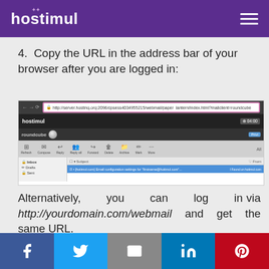hostimul
4.  Copy the URL in the address bar of your browser after you are logged in:
[Figure (screenshot): Browser screenshot showing webmail URL in address bar highlighted in pink. Address bar shows: http://server.hosting.org:2096/cpsess4034955215/webmail/paper_lantern/index.html?mailclient=roundcube. Below shows hostimul webmail interface with roundcube logo and inbox with one email visible.]
Alternatively,  you  can  log  in via http://yourdomain.com/webmail and get the same URL.